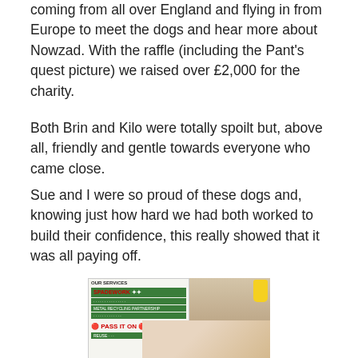coming from all over England and flying in from Europe to meet the dogs and hear more about Nowzad. With the raffle (including the Pant's quest picture) we raised over £2,000 for the charity.
Both Brin and Kilo were totally spoilt but, above all, friendly and gentle towards everyone who came close.
Sue and I were so proud of these dogs and, knowing just how hard we had both worked to build their confidence, this really showed that it was all paying off.
[Figure (photo): A man bending down to nuzzle a small dog, inside a room with a poster on the wall showing 'OUR SERVICES' with 'SPADEWORK' and 'PASS IT ON' sections, and a yellow bottle visible in the background.]